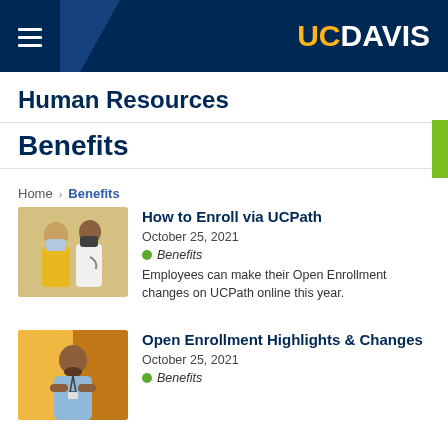UC DAVIS — Human Resources Benefits
Human Resources
Benefits
Home · Benefits
[Figure (photo): Two masked women, one in yellow shirt receiving medical care]
How to Enroll via UCPath
October 25, 2021
Benefits
Employees can make their Open Enrollment changes on UCPath online this year.
[Figure (photo): Man with crossed arms smiling, wearing light blue shirt and lanyard]
Open Enrollment Highlights & Changes
October 25, 2021
Benefits